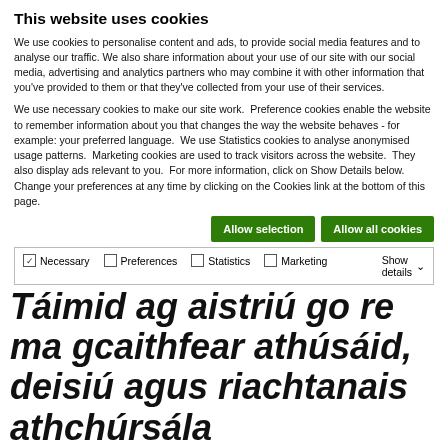This website uses cookies
We use cookies to personalise content and ads, to provide social media features and to analyse our traffic. We also share information about your use of our site with our social media, advertising and analytics partners who may combine it with other information that you've provided to them or that they've collected from your use of their services.
We use necessary cookies to make our site work.  Preference cookies enable the website to remember information about you that changes the way the website behaves - for example: your preferred language.  We use Statistics cookies to analyse anonymised usage patterns.  Marketing cookies are used to track visitors across the website.  They also display ads relevant to you.  For more information, click on Show Details below. Change your preferences at any time by clicking on the Cookies link at the bottom of this page.
Allow selection | Allow all cookies [buttons]
Necessary | Preferences | Statistics | Marketing | Show details
Táimid ag aistriú go re ma gcaithfear athúsáid, deisiú agus riachtanais athchúrsála